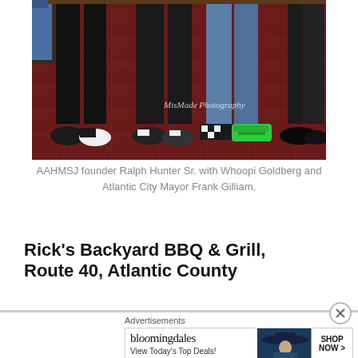[Figure (photo): Photograph showing people standing together in a room with a red patterned carpet. The lower halves of several people are visible, wearing various shoes including black and white saddle shoes, checkered sneakers, and green sneakers. A watermark reads 'MisMade Photography'.]
AAHMSJ founder Ralph Hunter Sr. with Whoopi Goldberg and Atlantic City Mayor Frank Gilliam.
Rick's Backyard BBQ & Grill, Route 40, Atlantic County
[Figure (screenshot): Bloomingdale's advertisement banner with text 'View Today's Top Deals!' and 'SHOP NOW >' button, featuring an image of a woman with a wide-brim hat.]